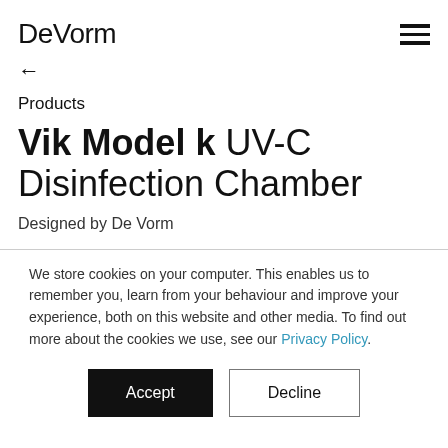DeVorm
←
Products
Vik Model k UV-C Disinfection Chamber
Designed by De Vorm
We store cookies on your computer. This enables us to remember you, learn from your behaviour and improve your experience, both on this website and other media. To find out more about the cookies we use, see our Privacy Policy.
Accept
Decline